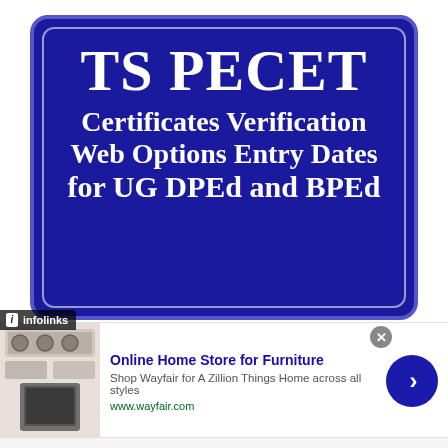[Figure (illustration): Dark navy blue sign with rounded corners and white inner border outline. Contains bold white text: 'TS PECET' as the main title, followed by 'Certificates Verification', 'Web Options Entry Dates', and 'for UG DPEd and BPEd']
infolinks
[Figure (photo): Advertisement thumbnail showing furniture/appliances for Wayfair]
Online Home Store for Furniture
Shop Wayfair for A Zillion Things Home across all styles
www.wayfair.com